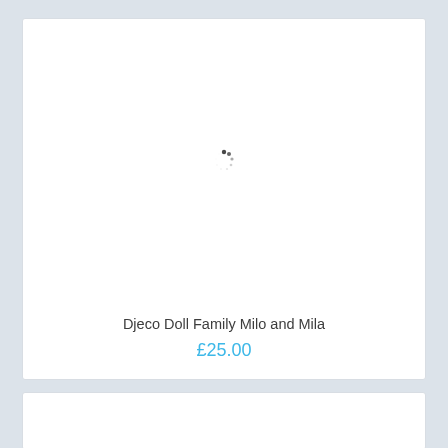[Figure (other): Product card with loading spinner in image area]
Djeco Doll Family Milo and Mila
£25.00
[Figure (other): Second product card, partially visible, image area empty]